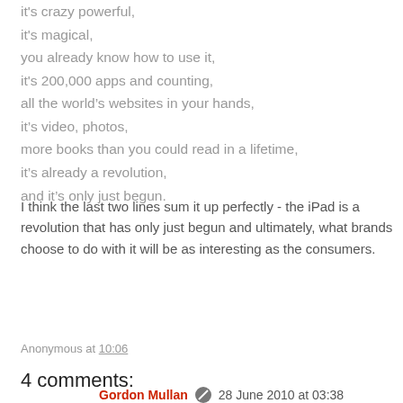it's crazy powerful,
it's magical,
you already know how to use it,
it's 200,000 apps and counting,
all the world's websites in your hands,
it's video, photos,
more books than you could read in a lifetime,
it's already a revolution,
and it's only just begun.
I think the last two lines sum it up perfectly - the iPad is a revolution that has only just begun and ultimately, what brands choose to do with it will be as interesting as the consumers.
Anonymous at 10:06
4 comments:
Gordon Mullan  28 June 2010 at 03:38